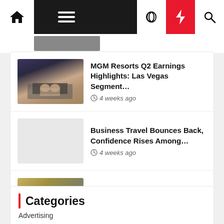[Figure (screenshot): Navigation bar with home icon, hamburger menu, moon icon, red lightning bolt icon, and search icon]
MGM Resorts Q2 Earnings Highlights: Las Vegas Segment… 4 weeks ago
Business Travel Bounces Back, Confidence Rises Among… 4 weeks ago
Opendoor to Pay $62 Million to Settle Claims of Deceptive… 4 weeks ago
Categories